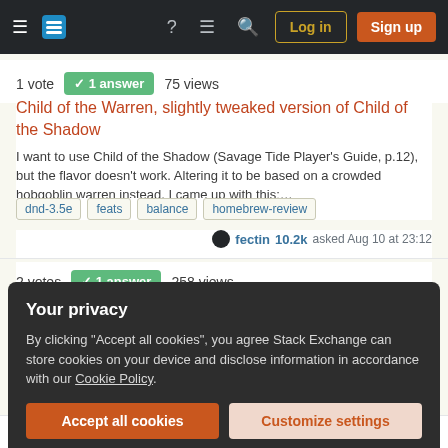Stack Exchange navigation bar with hamburger menu, logo, help, chat, search icons, Log in and Sign up buttons
1 vote  ✓ 1 answer  75 views
Child of the Warren, slightly tweaked version of Child of the Shadow
I want to use Child of the Shadow (Savage Tide Player's Guide, p.12), but the flavor doesn't work. Altering it to be based on a crowded hobgoblin warren instead, I came up with this:…
dnd-3.5e
feats
balance
homebrew-review
fectin 10.2k asked Aug 10 at 23:12
2 votes  ✓ 1 answer  258 views
Does this change to the Two-Weapon Fighting bridge the gap with GWF?
Your privacy
By clicking "Accept all cookies", you agree Stack Exchange can store cookies on your device and disclose information in accordance with our Cookie Policy.
Accept all cookies
Customize settings
10 votes  4 answers  2k views